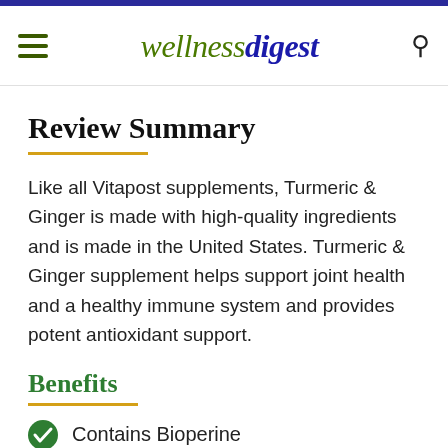wellnessdigest
Review Summary
Like all Vitapost supplements, Turmeric & Ginger is made with high-quality ingredients and is made in the United States. Turmeric & Ginger supplement helps support joint health and a healthy immune system and provides potent antioxidant support.
Benefits
Contains Bioperine